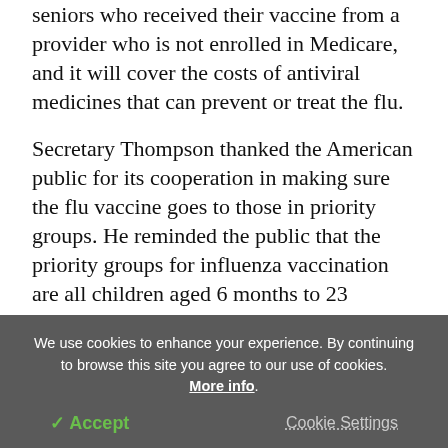seniors who received their vaccine from a provider who is not enrolled in Medicare, and it will cover the costs of antiviral medicines that can prevent or treat the flu.
Secretary Thompson thanked the American public for its cooperation in making sure the flu vaccine goes to those in priority groups. He reminded the public that the priority groups for influenza vaccination are all children aged 6 months to 23 months; adults aged 65 and older; persons aged 2 to 64 with underlying chronic conditions; all women who will be pregnant
We use cookies to enhance your experience. By continuing to browse this site you agree to our use of cookies. More info.
✓ Accept
Cookie Settings